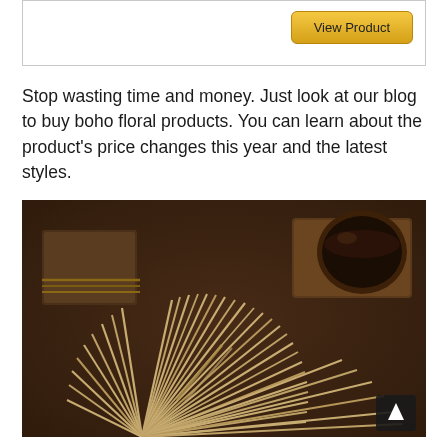[Figure (other): Button area with 'View Product' golden button on white bordered box]
Stop wasting time and money. Just look at our blog to buy boho floral products. You can learn about the product's price changes this year and the latest styles.
[Figure (photo): Dark brown textured background with a dried palm fan leaf spread out flat, a wooden bowl on a small wooden tray in the upper right, and a bundle of twine-wrapped items on the left.]